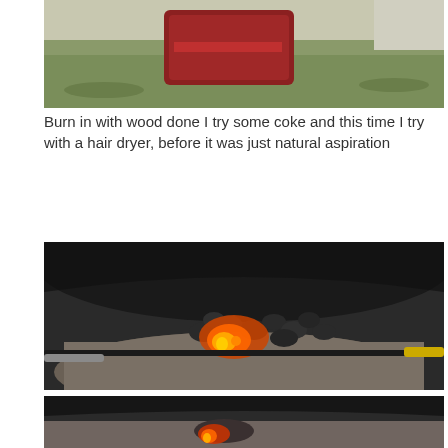[Figure (photo): Top portion of a forge or outdoor fire setup, showing red/maroon objects on green grass in background]
Burn in with wood done I try some coke and this time I try with a hair dryer, before it was just natural aspiration
[Figure (photo): Interior of a forge bowl showing glowing orange fire flames among dark charcoal/coke pieces with metal bar and yellow handle visible]
[Figure (photo): Another view of forge interior showing orange glowing fire and charcoal/ash bed, partially visible at bottom of page]